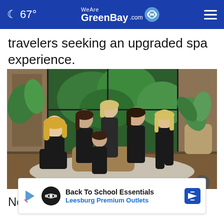67° WeAreGreenBay.com
travelers seeking an upgraded spa experience.
[Figure (photo): Group photo of seven women in black uniforms seated and standing in a modern spa lobby with large windows, tropical plants, and warm wood flooring.]
Now,
[Figure (infographic): Advertisement banner: Back To School Essentials - Leesburg Premium Outlets]